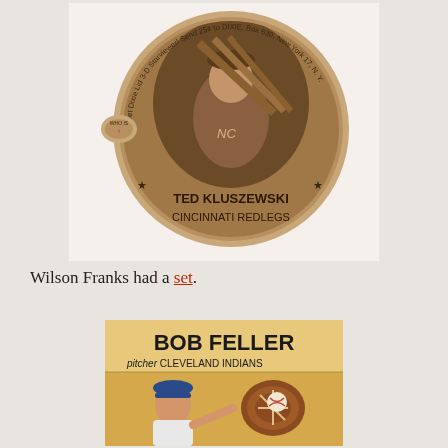[Figure (photo): Vintage Dixie Cup lid featuring Ted Kluszewski of the Cincinnati Redlegs. A circular cardboard lid with a sepia-toned photo of a baseball player holding bats. The lid reads 'Get Dixie Lid 3-D Starviewer! Send 25¢ to DIXIE, Box 630, New York 17, N.Y.' around the border. Bottom reads 'TED KLUSZEWSKI' and 'CINCINNATI REDLEGS'.]
Wilson Franks had a set.
[Figure (photo): Vintage baseball card showing Bob Feller, pitcher for the Cleveland Indians. Orange/tan background with bold text 'BOB FELLER' at top, italic 'pitcher CLEVELAND INDIANS' below, and an illustrated image of Feller pitching with a catcher's mitt visible.]